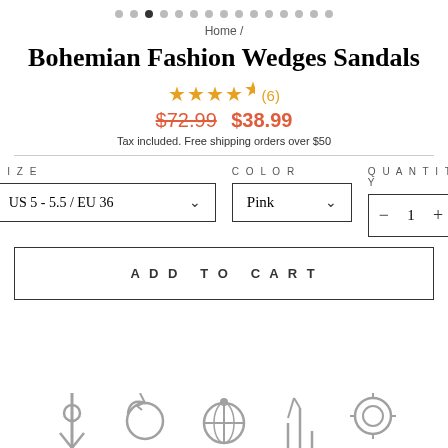[Figure (other): Carousel dot indicators, 15 dots total, third dot active/filled]
Home /
Bohemian Fashion Wedges Sandals
★★★★½ (6)
$72.99  $38.99
Tax included. Free shipping orders over $50
SIZE  COLOR  QUANTITY  US 5 - 5.5 / EU 36  Pink  - 1 +
ADD TO CART
[Figure (illustration): Row of partially visible icon illustrations at the bottom of the page]